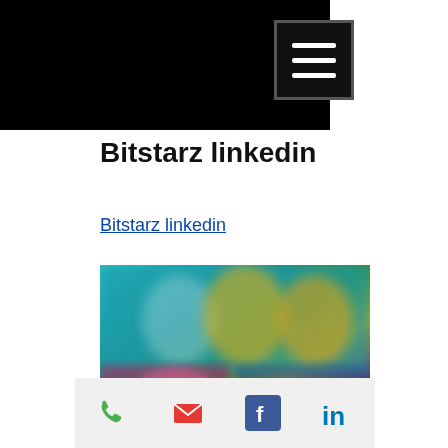Bitstarz linkedin
Bitstarz linkedin
[Figure (screenshot): Blurred screenshot of a gaming or casino website interface showing colorful character graphics and game thumbnails]
Social sharing bar with phone, email, Facebook, and LinkedIn icons